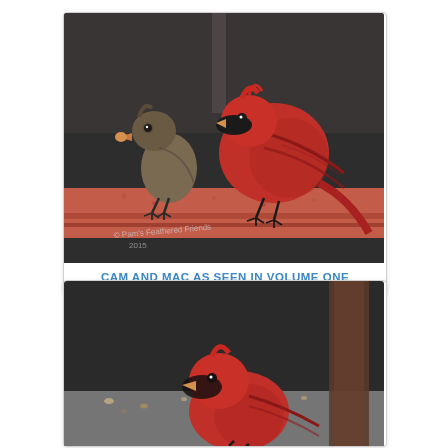[Figure (photo): Two cardinals perched on a red brick or railing. A brownish female cardinal on the left holds a seed in its beak, and a bright red male cardinal stands to the right. A handwritten copyright watermark is visible at the bottom left of the image.]
CAM AND MAC AS SEEN IN VOLUME ONE
[Figure (photo): Partial image of a red male cardinal bird at the bottom of the page, partially cropped, appearing to be on a surface with scattered seeds or debris.]